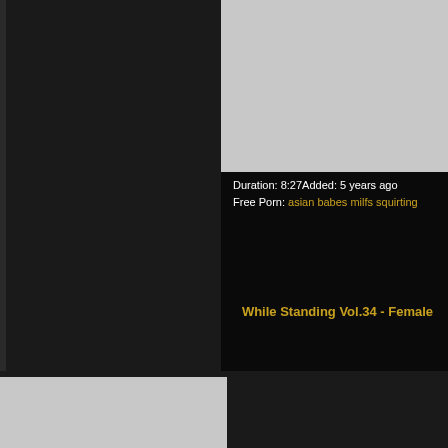[Figure (photo): Gray placeholder thumbnail for video 1 (top left)]
[Figure (photo): Gray placeholder thumbnail for video 2 (top right)]
Duration: 22:17Added: 5 years ago
Free Porn:
Duration: 8:27Added: 5 years ago
Free Porn: asian babes milfs squirting
Masturbation and squirt short
While Standing Vol.34 - Female
[Figure (photo): Gray placeholder thumbnail for video 3 (bottom left)]
[Figure (photo): Gray placeholder thumbnail for video 4 (bottom right)]